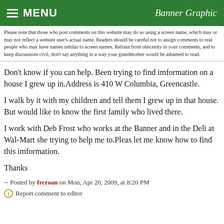MENU   Banner Graphic
Please note that those who post comments on this website may do so using a screen name, which may or may not reflect a website user's actual name. Readers should be careful not to assign comments to real people who may have names similar to screen names. Refrain from obscenity in your comments, and to keep discussions civil, don't say anything in a way your grandmother would be ashamed to read.
Don't know if you can help. Been trying to find imformation on a house I grew up in.Address is 410 W Columbia, Greencastle.
I walk by it with my children and tell them I grew up in that house. But would like to know the first family who lived there.
I work with Deb Frost who works at the Banner and in the Deli at Wal-Mart she trying to help me to.Pleas let me know how to find this imformation.
Thanks
-- Posted by frcroan on Mon, Apr 20, 2009, at 8:20 PM
Report comment to editor